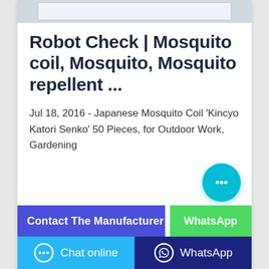[Figure (screenshot): Cropped screenshot strip at top of card]
Robot Check | Mosquito coil, Mosquito, Mosquito repellent ...
Jul 18, 2016 - Japanese Mosquito Coil 'Kincyo Katori Senko' 50 Pieces, for Outdoor Work, Gardening
[Figure (other): Cyan circular chat bubble button with ellipsis icon, bottom right]
[Figure (screenshot): Partial blue 'Contact The Manufacturer' button and partial green 'WhatsApp' button]
[Figure (other): Bottom bar: light blue 'Chat online' button on left, dark blue 'WhatsApp' button on right]